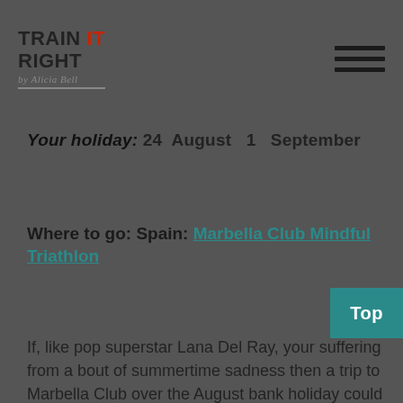Train It Right by Alicia Bell
Your holiday: 24 August – 1 September
Where to go: Spain: Marbella Club Mindful Triathlon
Top
If, like pop superstar Lana Del Ray, your suffering from a bout of summertime sadness then a trip to Marbella Club over the August bank holiday could be just what the doctor ordered. Not only will you benefit